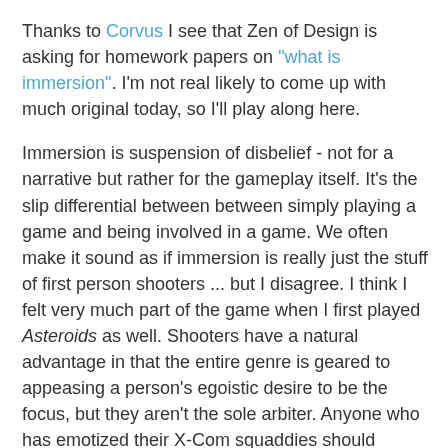Thanks to Corvus I see that Zen of Design is asking for homework papers on "what is immersion". I'm not real likely to come up with much original today, so I'll play along here.
Immersion is suspension of disbelief - not for a narrative but rather for the gameplay itself. It's the slip differential between between simply playing a game and being involved in a game. We often make it sound as if immersion is really just the stuff of first person shooters ... but I disagree. I think I felt very much part of the game when I first played Asteroids as well. Shooters have a natural advantage in that the entire genre is geared to appeasing a person's egoistic desire to be the focus, but they aren't the sole arbiter. Anyone who has emotized their X-Com squaddies should probably understand.
This distinction, however, is one of the ways that I think most people get confused when they defend Half-Life 2 as having a good narrative. Gordon Freeman doesn't talk, they say, because Valve is "showing and not telling". Wrong, Gordon Freeman doesn't talk because Valve wants you to think that